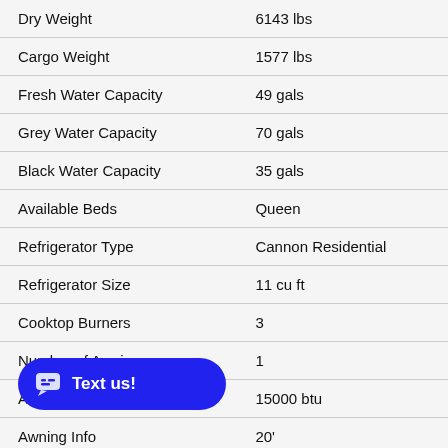| Specification | Value |
| --- | --- |
| Dry Weight | 6143 lbs |
| Cargo Weight | 1577 lbs |
| Fresh Water Capacity | 49 gals |
| Grey Water Capacity | 70 gals |
| Black Water Capacity | 35 gals |
| Available Beds | Queen |
| Refrigerator Type | Cannon Residential |
| Refrigerator Size | 11 cu ft |
| Cooktop Burners | 3 |
| Number of Awnings | 1 |
| AC BTU | 15000 btu |
| Awning Info | 20' |
|  | 2 |
| Shower Type | Standard |